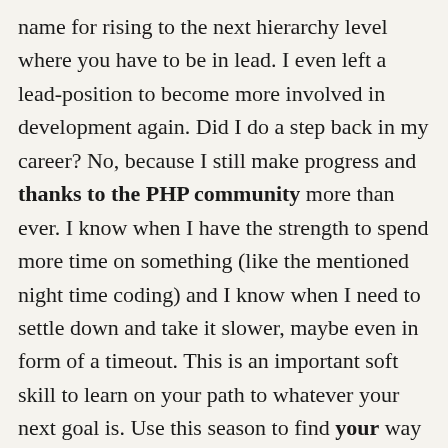name for rising to the next hierarchy level where you have to be in lead. I even left a lead-position to become more involved in development again. Did I do a step back in my career? No, because I still make progress and thanks to the PHP community more than ever. I know when I have the strength to spend more time on something (like the mentioned night time coding) and I know when I need to settle down and take it slower, maybe even in form of a timeout. This is an important soft skill to learn on your path to whatever your next goal is. Use this season to find your way for your career and don't forget to take some rest from time to time.